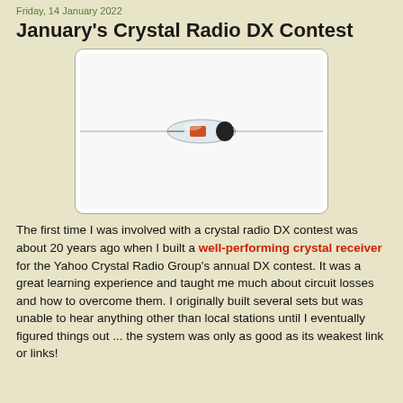Friday, 14 January 2022
January's Crystal Radio DX Contest
[Figure (photo): Close-up photograph of a small glass diode component with metal leads extending to either side, showing a red band and black end cap on a white background.]
The first time I was involved with a crystal radio DX contest was about 20 years ago when I built a well-performing crystal receiver for the Yahoo Crystal Radio Group's annual DX contest. It was a great learning experience and taught me much about circuit losses and how to overcome them. I originally built several sets but was unable to hear anything other than local stations until I eventually figured things out ... the system was only as good as its weakest link or links!